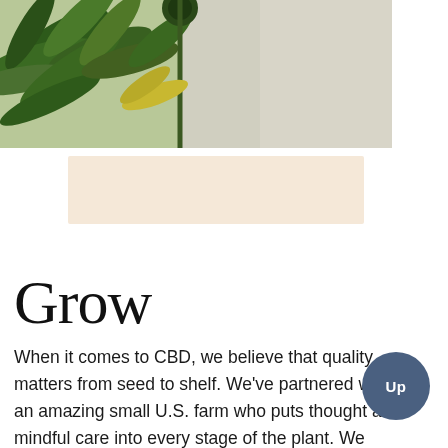[Figure (photo): Photo of green cannabis/hemp plant leaves against a light wooden background]
[Figure (other): Light peach/beige rounded rectangle box, likely an advertisement or image placeholder]
Grow
When it comes to CBD, we believe that quality matters from seed to shelf. We've partnered with an amazing small U.S. farm who puts thought and mindful care into every stage of the plant. We have a meaningful relationship with our farm and know how hard they work to grown to organic standards hemp to market. Not a thing is sprayed on our plants. No